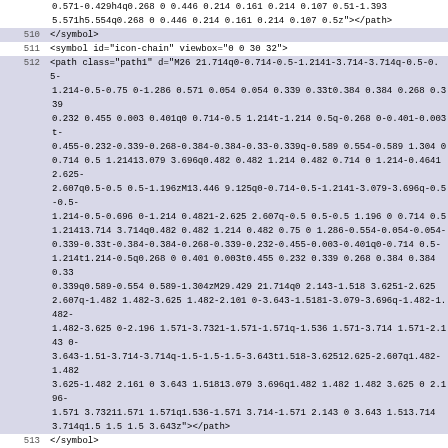Code listing showing SVG symbol definitions with icon-chain and icon-thumb-tack, lines 510-516
0.571-0.429h4q0.268 0 0.446 0.214 0.161 0.214 0.107 0.51-1.393
5.571h5.554q0.268 0 0.446 0.214 0.161 0.214 0.107 0.5z"></path>
510 </symbol>
511 <symbol id="icon-chain" viewbox="0 0 30 32">
512 <path class="path1" d="M26 21.714q0-0.714-0.5-1.2141-3.714-3.714q-0.5-0.5-1.214-0.5-0.75 0-1.286 0.571 0.054 0.054 0.339 0.33t0.384 0.384 0.268 0.339 0.232 0.455 0.003 0.401q0 0.714-0.5 1.214t-1.214 0.5q-0.268 0-0.401-0.003t-0.455-0.232-0.339-0.268-0.384-0.384-0.33-0.339q-0.589 0.554-0.589 1.304 0 0.714 0.5 1.21413.079 3.696q0.482 0.482 1.214 0.482 0.714 0 1.214-0.46412.625-2.607q0.5-0.5 0.5-1.196zM13.446 9.125q0-0.714-0.5-1.2141-3.079-3.696q-0.5-0.5-1.214-0.5-0.696 0-1.214 0.4821-2.625 2.607q-0.5 0.5-0.5 1.196 0 0.714 0.5 1.21413.714 3.714q0.482 0.482 1.214 0.482 0.75 0 1.286-0.554-0.054-0.054-0.339-0.33t-0.384-0.384-0.268-0.339-0.232-0.455-0.003-0.401q0-0.714 0.5-1.214t1.214-0.5q0.268 0 0.401 0.003t0.455 0.232 0.339 0.268 0.384 0.384 0.33 0.339q0.589-0.554 0.589-1.304zM29.429 21.714q0 2.143-1.518 3.6251-2.625 2.607q-1.482 1.482-3.625 1.482-2.161 0-3.643-1.5181-3.079-3.696q-1.482-1.482-1.482-3.625 0-2.196 1.571-3.7321-1.571-1.571q-1.536 1.571-3.714 1.571-2.143 0-3.643-1.51-3.714-3.714q-1.5-1.5-1.5-3.643t1.518-3.62512.625-2.607q1.482-1.482 3.625-1.482 2.161 0 3.643 1.51813.079 3.696q1.482 1.482 1.482 3.625 0 2.196-1.571 3.73211.571 1.571q1.536-1.571 3.714-1.571 2.143 0 3.643 1.513.714 3.714q1.5 1.5 1.5 3.643z"></path>
513 </symbol>
514 <symbol id="icon-thumb-tack" viewbox="0 0 21 32">
515 <path class="path1" d="M8.571 15.429v-8q0-0.25-0.161-0.411t-0.411-0.161-0.411 0.161-0.161 0.411v8q0 0.25 0.161 0.411t0.411 0.161 0.411-0.161 0.161-0.411zM20.571 21.714q0 0.464-0.339 0.804t-0.804 0.339h-7.6611-0.911 8.625q-0.030 0.214-0.188 0.366t-0.366 0.152h-0.018q-0.482 0-0.571-0.4821-1.357-8.661h-7.214q-0.464 0-0.804-0.339t-0.339-0.804q0-2.196 1.402-3.955t3.17-1.759v-9.143q-0.929 0-1.607-0.679t-0.679-1.607 0.679-1.607 1.607-0.679h11.429q0.929 0 1.607 0.679t0.679 1.607-0.679 1.607-1.607 0.679v9.143q1.768 0 3.17 1.750t1.402 3.955z"></path>
516 </symbol>